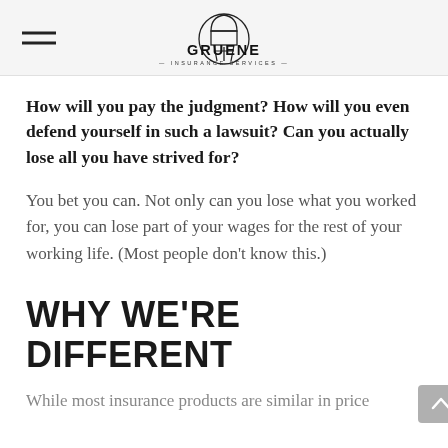GRUENE INSURANCE SERVICES
How will you pay the judgment? How will you even defend yourself in such a lawsuit? Can you actually lose all you have strived for?
You bet you can. Not only can you lose what you worked for, you can lose part of your wages for the rest of your working life. (Most people don't know this.)
WHY WE'RE DIFFERENT
While most insurance products are similar in price